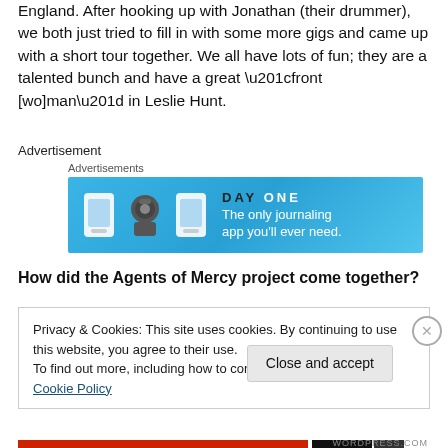England. After hooking up with Jonathan (their drummer), we both just tried to fill in with some more gigs and came up with a short tour together. We all have lots of fun; they are a talented bunch and have a great “front [wo]man” in Leslie Hunt.
Advertisement
[Figure (other): Day One journaling app advertisement banner with blue background. Text reads: DAY ONE - The only journaling app you'll ever need.]
How did the Agents of Mercy project come together?
Privacy & Cookies: This site uses cookies. By continuing to use this website, you agree to their use.
To find out more, including how to control cookies, see here: Cookie Policy
Close and accept